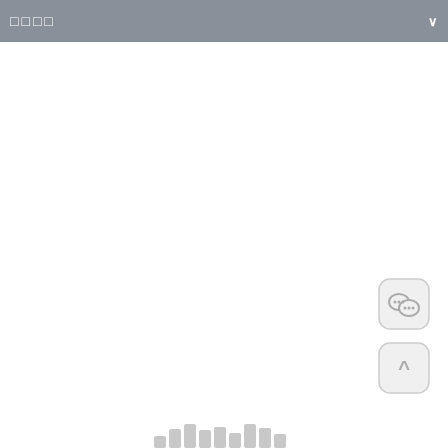□□□□
[Figure (logo): WeChat icon button - rounded square with two overlapping chat bubble circles in gray]
[Figure (other): Scroll-to-top button - rounded square with upward caret symbol in gray]
[Figure (bar-chart): Row of vertical gray bars of varying heights along the bottom edge of the page]